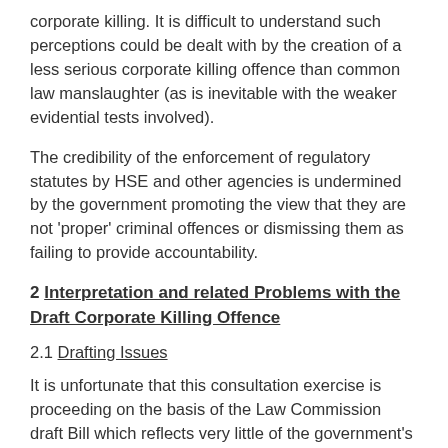corporate killing. It is difficult to understand such perceptions could be dealt with by the creation of a less serious corporate killing offence than common law manslaughter (as is inevitable with the weaker evidential tests involved).
The credibility of the enforcement of regulatory statutes by HSE and other agencies is undermined by the government promoting the view that they are not 'proper' criminal offences or dismissing them as failing to provide accountability.
2 Interpretation and related Problems with the Draft Corporate Killing Offence
2.1 Drafting Issues
It is unfortunate that this consultation exercise is proceeding on the basis of the Law Commission draft Bill which reflects very little of the government's thinking as set out in the proposal document. If the